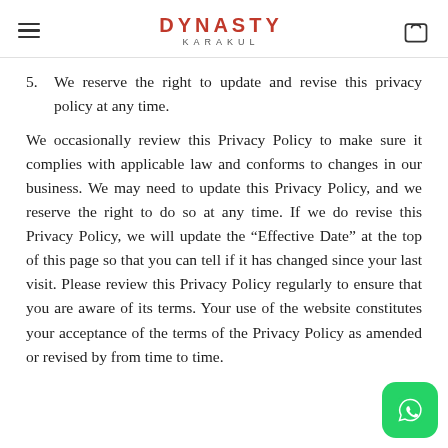DYNASTY KARAKUL
5. We reserve the right to update and revise this privacy policy at any time.
We occasionally review this Privacy Policy to make sure it complies with applicable law and conforms to changes in our business. We may need to update this Privacy Policy, and we reserve the right to do so at any time. If we do revise this Privacy Policy, we will update the “Effective Date” at the top of this page so that you can tell if it has changed since your last visit. Please review this Privacy Policy regularly to ensure that you are aware of its terms. Your use of the website constitutes your acceptance of the terms of the Privacy Policy as amended or revised by from time to time.